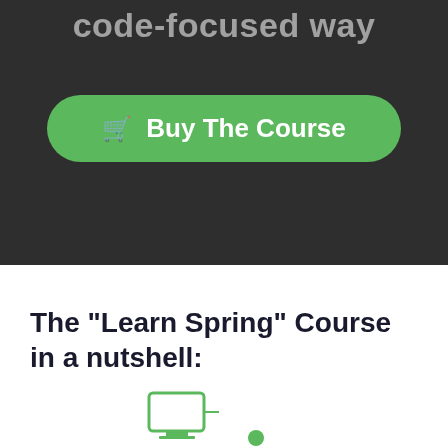code-focused way
[Figure (other): Green rounded button with shopping cart icon and text 'Buy The Course']
The "Learn Spring" Course in a nutshell:
[Figure (infographic): Partial green icons at the bottom of the page — a monitor/screen icon and a circle dot, part of a course overview infographic]